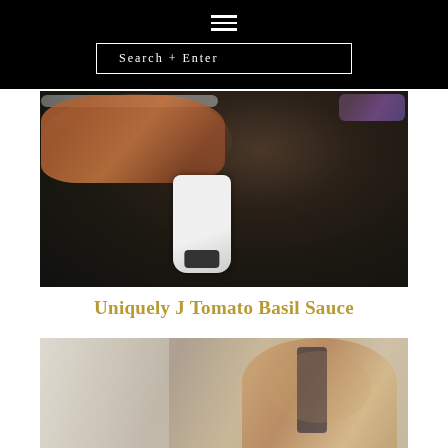≡  Search + Enter
[Figure (photo): Close-up photo of a hand holding a phone over a dark pan, with a white digital thermometer inserted into a meat/food item in a dark skillet.]
Uniquely J Tomato Basil Sauce
[Figure (photo): Photo of a woman with glasses and hair up smiling, with a child, in a bright kitchen setting.]